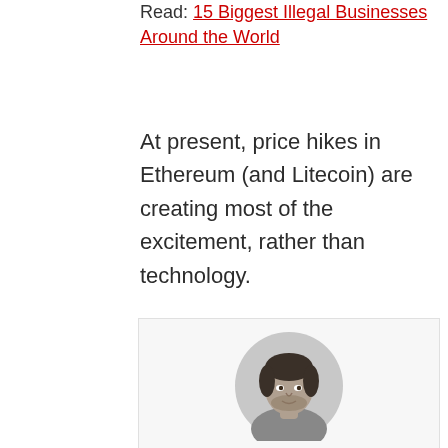Read: 15 Biggest Illegal Businesses Around the World
At present, price hikes in Ethereum (and Litecoin) are creating most of the excitement, rather than technology.
[Figure (photo): Circular black and white portrait photo of Varun Kumar]
Written by
Varun Kumar
Varun Kumar is a professional science and technology journalist and a big fan of AI, machines, and space exploration. He received a Master's degree in computer